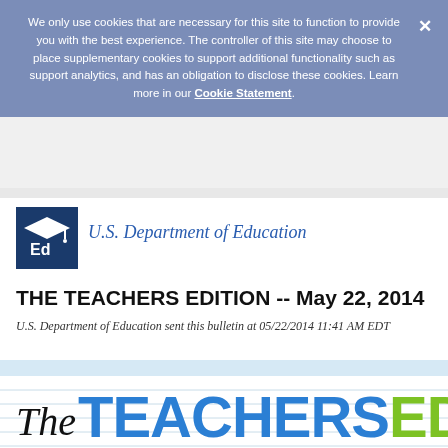We only use cookies that are necessary for this site to function to provide you with the best experience. The controller of this site may choose to place supplementary cookies to support additional functionality such as support analytics, and has an obligation to disclose these cookies. Learn more in our Cookie Statement.
[Figure (logo): U.S. Department of Education logo: white graduation cap and 'Ed' letters on dark blue square background]
U.S. Department of Education
THE TEACHERS EDITION -- May 22, 2014
U.S. Department of Education sent this bulletin at 05/22/2014 11:41 AM EDT
[Figure (illustration): The Teachers Edition newsletter masthead with cursive 'The', bold blue 'TEACHERS' and bold green 'EDI' text partially visible, on white background with light blue horizontal lines]